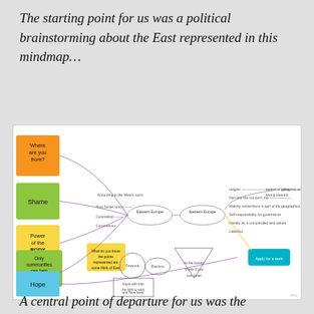The starting point for us was a political brainstorming about the East represented in this mindmap…
[Figure (infographic): A mindmap diagram about the East, featuring sticky notes on the left (Where are you from? in orange, Shame in green, Power of the BODY in yellow, Only communities can help communities in green, Hope in blue), connected via arrows and lines to central nodes labeled 'Eastern Europe' and 'Eastern Europe', with various branches and text nodes radiating outward, geometric shapes (circle, triangle, rounded rectangle), and a teal box on the right.]
A central point of departure for us was the